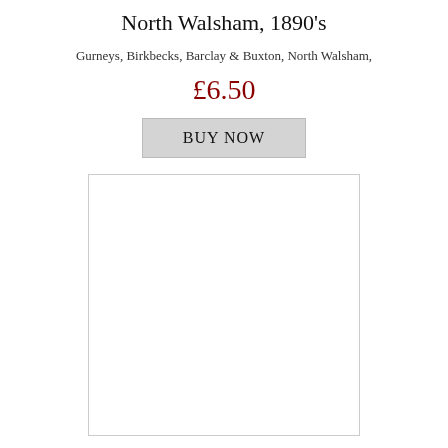North Walsham, 1890's
Gurneys, Birkbecks, Barclay & Buxton, North Walsham,
£6.50
BUY NOW
[Figure (photo): White/blank rectangular image area with a thin border, representing a product photo placeholder]